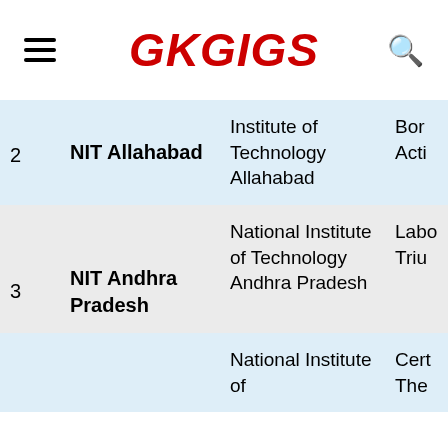GKGIGS
| # | Name | Full Name | Info |
| --- | --- | --- | --- |
| 2 | NIT Allahabad | Institute of Technology Allahabad | Bor... Acti... |
| 3 | NIT Andhra Pradesh | National Institute of Technology Andhra Pradesh | Labo... Triu... |
|  |  | National Institute of... | Cert... The... |